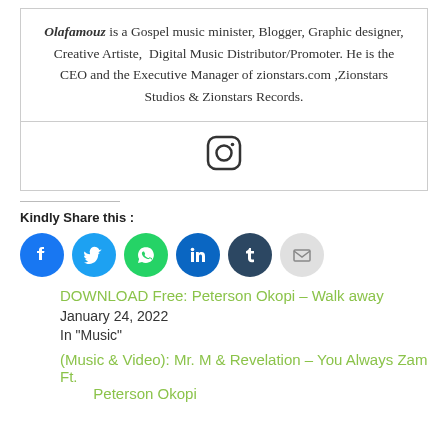Olafamouz is a Gospel music minister, Blogger, Graphic designer, Creative Artiste, Digital Music Distributor/Promoter. He is the CEO and the Executive Manager of zionstars.com ,Zionstars Studios & Zionstars Records.
[Figure (logo): Instagram icon (rounded square outline with circle inside)]
Kindly Share this :
[Figure (infographic): Social share buttons: Facebook (blue), Twitter (light blue), WhatsApp (green), LinkedIn (dark blue), Tumblr (dark navy), Email (light gray)]
DOWNLOAD Free: Peterson Okopi – Walk away
January 24, 2022
In "Music"
(Music & Video): Mr. M & Revelation – You Always Zam Ft. Peterson Okopi